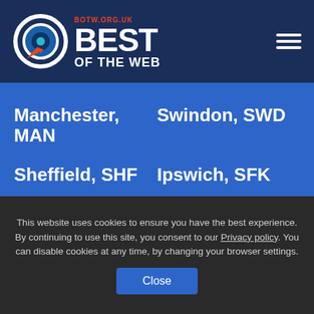[Figure (logo): Best of the Web logo with circular target icon and text BEST OF THE WEB, botw.org.uk]
Manchester, MAN
Swindon, SWD
Sheffield, SHF
Ipswich, SFK
Bristol, BST
Warrington, WRT
Coventry, COV
Oxford, OXF
This website uses cookies to ensure you have the best experience. By continuing to use this site, you consent to our Privacy policy. You can disable cookies at any time, by changing your browser settings.